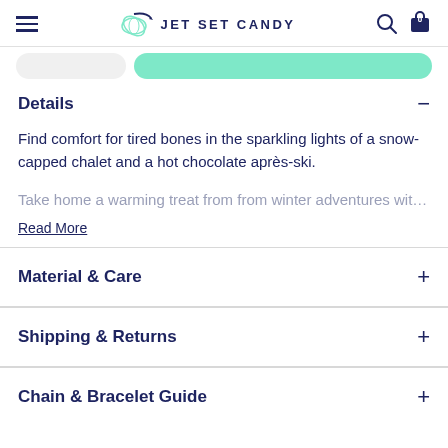JET SET CANDY
Details
Find comfort for tired bones in the sparkling lights of a snow-capped chalet and a hot chocolate après-ski.
Take home a warming treat from from winter adventures with us
Read More
Material & Care
Shipping & Returns
Chain & Bracelet Guide